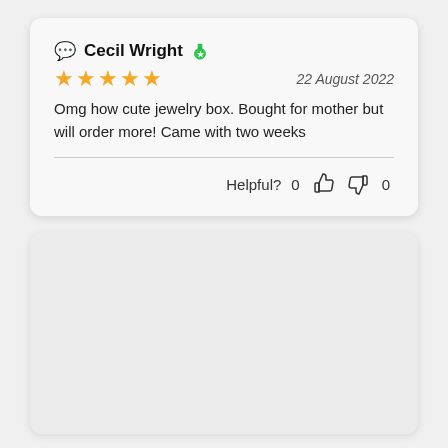+2
Cecil Wright 🏅
★★★★★  22 August 2022
Omg how cute jewelry box. Bought for mother but will order more! Came with two weeks
Helpful?  0  👍  👎  0